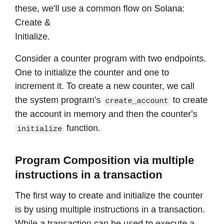these, we'll use a common flow on Solana: Create & Initialize.
Consider a counter program with two endpoints. One to initialize the counter and one to increment it. To create a new counter, we call the system program's create_account to create the account in memory and then the counter's initialize function.
Program Composition via multiple instructions in a transaction
The first way to create and initialize the counter is by using multiple instructions in a transaction. While a transaction can be used to execute a single call to a program like it was done above with transfer, a single transaction can also include multiple calls to different programs.